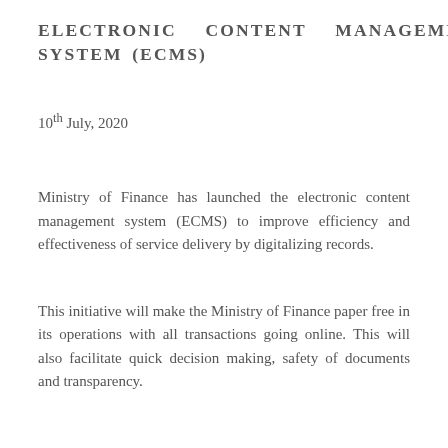ELECTRONIC CONTENT MANAGEMENT SYSTEM (ECMS)
10th July, 2020
Ministry of Finance has launched the electronic content management system (ECMS) to improve efficiency and effectiveness of service delivery by digitalizing records.
This initiative will make the Ministry of Finance paper free in its operations with all transactions going online. This will also facilitate quick decision making, safety of documents and transparency.